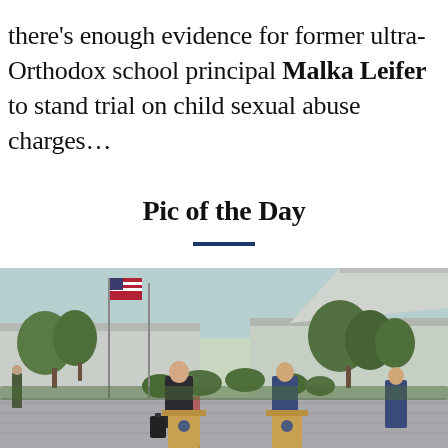there's enough evidence for former ultra-Orthodox school principal Malka Leifer to stand trial on child sexual abuse charges...
Pic of the Day
[Figure (photo): Outdoor press conference scene with two officials standing behind wooden podiums bearing official insignia, an American flag visible in the background along with trees and a modern building, and a third person standing to the right.]